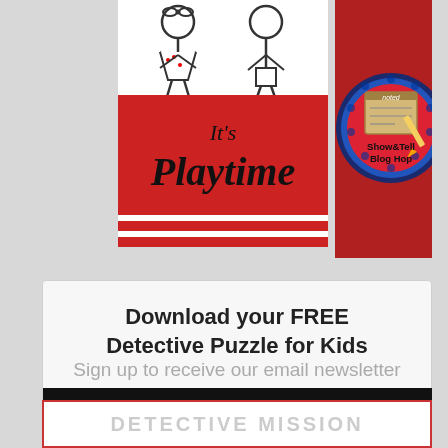[Figure (illustration): It's Playtime logo - red background with hand-drawn children figures and red/white striped bars]
[Figure (illustration): Show & Tell Blog Hop logo - dark blue/red circular badge with notebook and pencil graphic]
Download your FREE Detective Puzzle for Kids
Sign up to receive our email newsletter to help children and families grow through play. You can unsubscribe at anytime.
[Figure (illustration): Partial view of DETECTIVE MISSION puzzle worksheet, partially visible at bottom of page]